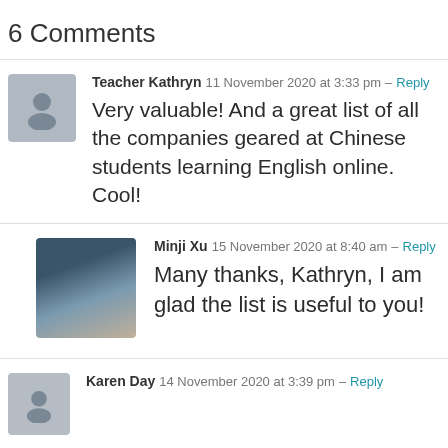6 Comments
Teacher Kathryn  11 November 2020 at 3:33 pm – Reply

Very valuable! And a great list of all the companies geared at Chinese students learning English online. Cool!
Minji Xu  15 November 2020 at 8:40 am – Reply

Many thanks, Kathryn, I am glad the list is useful to you!
Karen Day  14 November 2020 at 3:39 pm – Reply